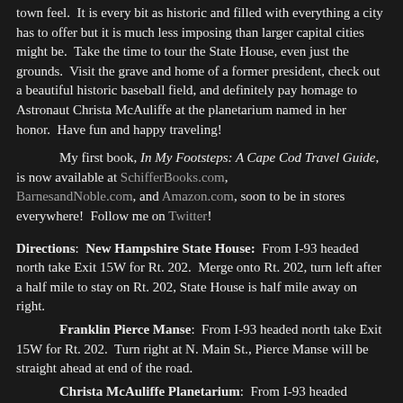town feel.  It is every bit as historic and filled with everything a city has to offer but it is much less imposing than larger capital cities might be.  Take the time to tour the State House, even just the grounds.  Visit the grave and home of a former president, check out a beautiful historic baseball field, and definitely pay homage to Astronaut Christa McAuliffe at the planetarium named in her honor.  Have fun and happy traveling!
My first book, In My Footsteps: A Cape Cod Travel Guide, is now available at SchifferBooks.com, BarnesandNoble.com, and Amazon.com, soon to be in stores everywhere!  Follow me on Twitter!
Directions:  New Hampshire State House:  From I-93 headed north take Exit 15W for Rt. 202.  Merge onto Rt. 202, turn left after a half mile to stay on Rt. 202, State House is half mile away on right.
Franklin Pierce Manse:  From I-93 headed north take Exit 15W for Rt. 202.  Turn right at N. Main St., Pierce Manse will be straight ahead at end of the road.
Christa McAuliffe Planetarium:  From I-93 headed